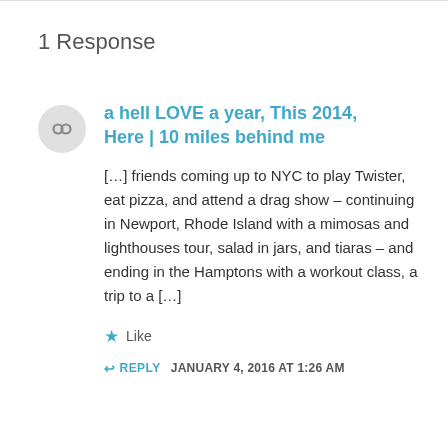1 Response
a hell LOVE a year, This 2014, Here | 10 miles behind me
[…] friends coming up to NYC to play Twister, eat pizza, and attend a drag show – continuing in Newport, Rhode Island with a mimosas and lighthouses tour, salad in jars, and tiaras – and ending in the Hamptons with a workout class, a trip to a […]
Like
REPLY  JANUARY 4, 2016 AT 1:26 AM